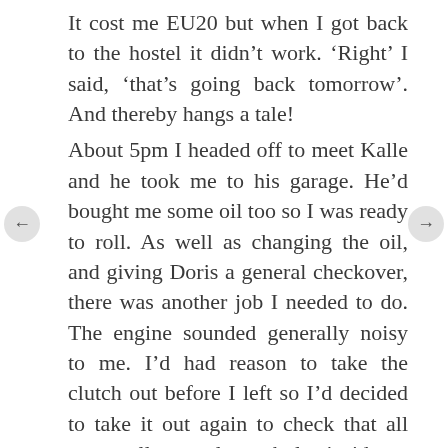It cost me EU20 but when I got back to the hostel it didn't work. 'Right' I said, 'that's going back tomorrow'. And thereby hangs a tale!
About 5pm I headed off to meet Kalle and he took me to his garage. He'd bought me some oil too so I was ready to roll. As well as changing the oil, and giving Doris a general checkover, there was another job I needed to do. The engine sounded generally noisy to me. I'd had reason to take the clutch out before I left so I'd decided to take it out again to check that all was well – no loose bolts inside or anything. So having drained the oil I took the engine cover off and removed the clutch. All was well, that was until this heavy handed idiot overtightened a bolt while